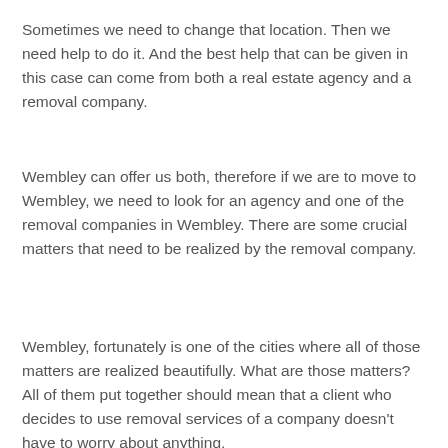Sometimes we need to change that location. Then we need help to do it. And the best help that can be given in this case can come from both a real estate agency and a removal company.
Wembley can offer us both, therefore if we are to move to Wembley, we need to look for an agency and one of the removal companies in Wembley. There are some crucial matters that need to be realized by the removal company.
Wembley, fortunately is one of the cities where all of those matters are realized beautifully. What are those matters? All of them put together should mean that a client who decides to use removal services of a company doesn't have to worry about anything.